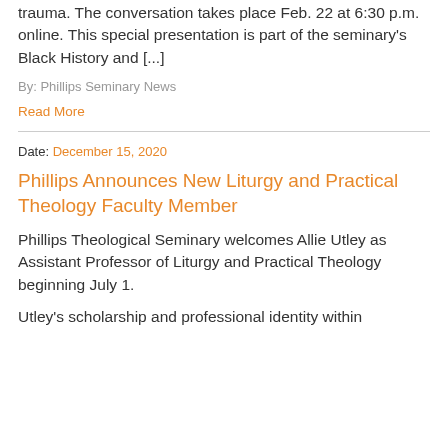trauma. The conversation takes place Feb. 22 at 6:30 p.m. online. This special presentation is part of the seminary's Black History and [...]
By: Phillips Seminary News
Read More
Date: December 15, 2020
Phillips Announces New Liturgy and Practical Theology Faculty Member
Phillips Theological Seminary welcomes Allie Utley as Assistant Professor of Liturgy and Practical Theology beginning July 1.
Utley's scholarship and professional identity within